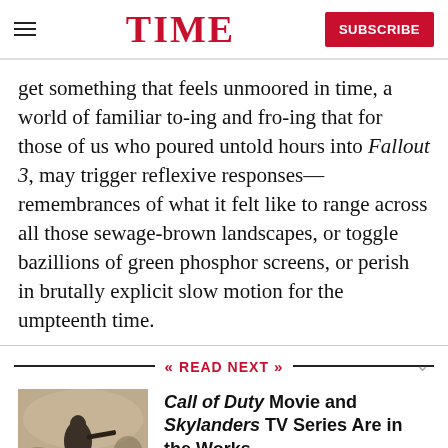TIME  SUBSCRIBE
get something that feels unmoored in time, a world of familiar to-ing and fro-ing that for those of us who poured untold hours into Fallout 3, may trigger reflexive responses—remembrances of what it felt like to range across all those sewage-brown landscapes, or toggle bazillions of green phosphor screens, or perish in brutally explicit slow motion for the umpteenth time.
READ NEXT
Call of Duty Movie and Skylanders TV Series Are in the Works